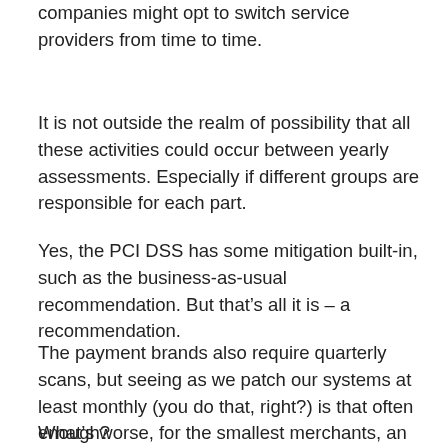companies might opt to switch service providers from time to time.
It is not outside the realm of possibility that all these activities could occur between yearly assessments. Especially if different groups are responsible for each part.
Yes, the PCI DSS has some mitigation built-in, such as the business-as-usual recommendation. But that’s all it is – a recommendation.
The payment brands also require quarterly scans, but seeing as we patch our systems at least monthly (you do that, right?) is that often enough?
What’s worse, for the smallest merchants, an annual assessment is only recommended, not required.